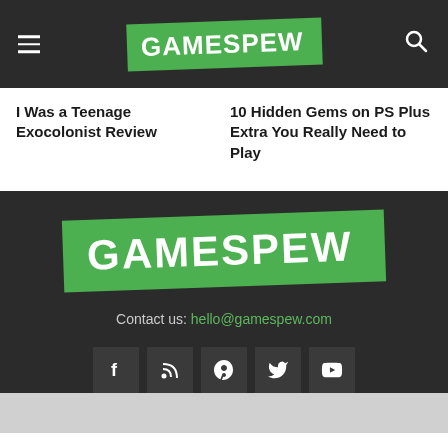GAMESPEW
I Was a Teenage Exocolonist Review
10 Hidden Gems on PS Plus Extra You Really Need to Play
[Figure (logo): GAMESPEW logo — white bold text on green tilted badge]
Contact us: hello@gamespew.com
[Figure (infographic): Social media icons: Facebook, RSS, Steam, Twitter, YouTube]